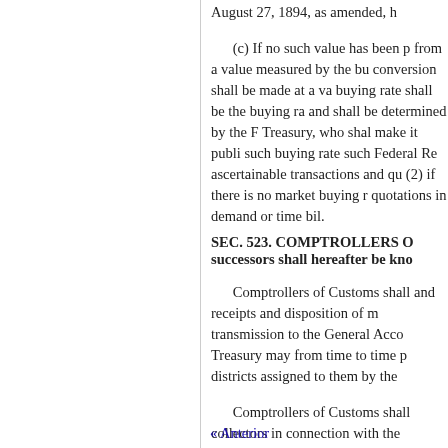August 27, 1894, as amended, h
(c) If no such value has been p from a value measured by the bu conversion shall be made at a va buying rate shall be the buying r and shall be determined by the F Treasury, who shal make it publi such buying rate such Federal Re ascertainable transactions and qu (2) if there is no market buying r quotations in demand or time bil
SEC. 523. COMPTROLLERS O successors shall hereafter be kno
Comptrollers of Customs shall and receipts and disposition of m transmission to the General Acco Treasury may from time to time p districts assigned to them by the
Comptrollers of Customs shall collectors in connection with the comptroller os customs, the latte
« Anterior